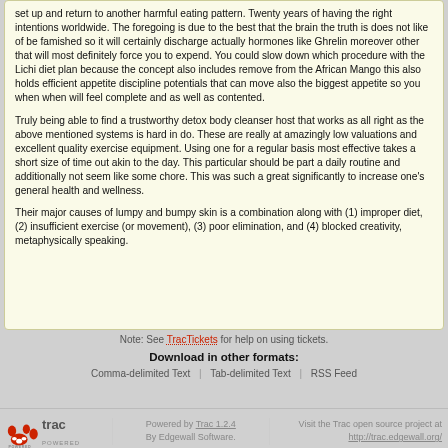set up and return to another harmful eating pattern. Twenty years of having the right intentions worldwide. The foregoing is due to the best that the brain the truth is does not like of be famished so it will certainly discharge actually hormones like Ghrelin moreover other that will most definitely force you to expend. You could slow down which procedure with the Lichi diet plan because the concept also includes remove from the African Mango this also holds efficient appetite discipline potentials that can move also the biggest appetite so you when when will feel complete and as well as contented.
Truly being able to find a trustworthy detox body cleanser host that works as all right as the above mentioned systems is hard in do. These are really at amazingly low valuations and excellent quality exercise equipment. Using one for a regular basis most effective takes a short size of time out akin to the day. This particular should be part a daily routine and additionally not seem like some chore. This was such a great significantly to increase one's general health and wellness.
Their major causes of lumpy and bumpy skin is a combination along with (1) improper diet, (2) insufficient exercise (or movement), (3) poor elimination, and (4) blocked creativity, metaphysically speaking.
Note: See TracTickets for help on using tickets.
Download in other formats:
Comma-delimited Text | Tab-delimited Text | RSS Feed
Powered by Trac 1.2.4 By Edgewall Software. Visit the Trac open source project at http://trac.edgewall.org/